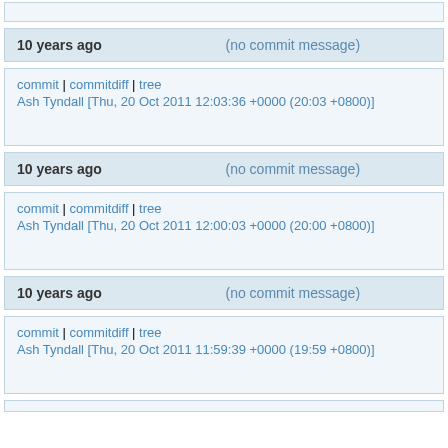10 years ago   (no commit message)
commit | commitdiff | tree
Ash Tyndall [Thu, 20 Oct 2011 12:03:36 +0000 (20:03 +0800)]
10 years ago   (no commit message)
commit | commitdiff | tree
Ash Tyndall [Thu, 20 Oct 2011 12:00:03 +0000 (20:00 +0800)]
10 years ago   (no commit message)
commit | commitdiff | tree
Ash Tyndall [Thu, 20 Oct 2011 11:59:39 +0000 (19:59 +0800)]